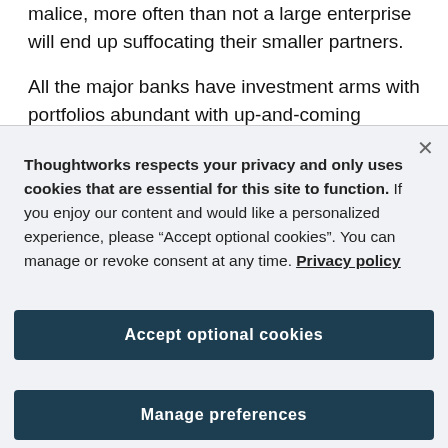malice, more often than not a large enterprise will end up suffocating their smaller partners.
All the major banks have investment arms with portfolios abundant with up-and-coming fintechs. Unfortunately, hiding behind these portfolios is
Thoughtworks respects your privacy and only uses cookies that are essential for this site to function. If you enjoy our content and would like a personalized experience, please “Accept optional cookies”. You can manage or revoke consent at any time. Privacy policy
Accept optional cookies
Manage preferences